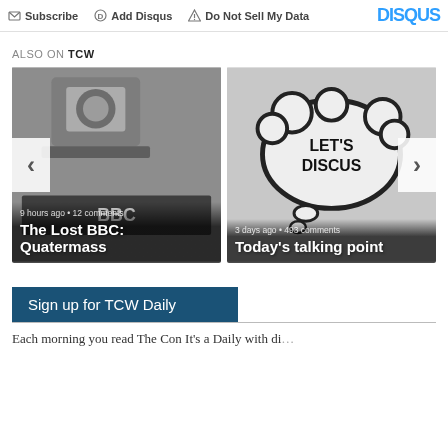Subscribe | Add Disqus | Do Not Sell My Data | DISQUS
ALSO ON TCW
[Figure (photo): Two side-by-side preview cards for articles on TCW. Left card: black and white photo of a film/broadcasting camera with BBC sign, caption '9 hours ago • 12 comments', title 'The Lost BBC: Quatermass'. Right card: black and white image of a speech bubble sign reading LET'S DISCUSS, caption '3 days ago • 493 comments', title 'Today's talking point'. Navigation arrows on left and right.]
Sign up for TCW Daily
Each morning you read The Con It's a Daily with di...